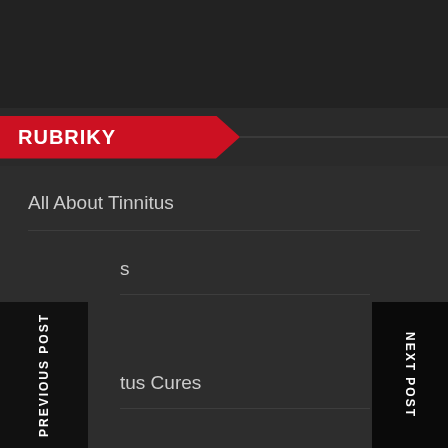RUBRIKY
All About Tinnitus
s
tus Cures
tus Treatments
Uncategorized
PREVIOUS POST
NEXT POST